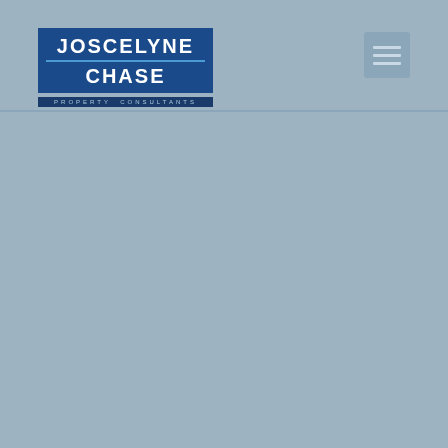[Figure (logo): Joscelyne Chase Property Consultants logo — dark blue rectangular background with white bold text 'JOSCELYNE' on top line, thin blue divider, 'CHASE' on second line, and small spaced lettering 'PROPERTY CONSULTANTS' below in a darker blue strip.]
[Figure (other): Hamburger menu icon — three horizontal white/light lines stacked inside a light blue-grey rounded square, positioned in the top-right area of the header.]